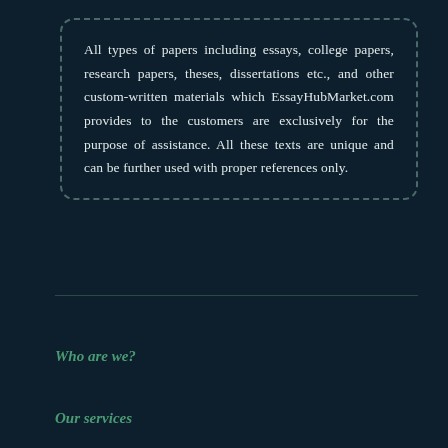All types of papers including essays, college papers, research papers, theses, dissertations etc., and other custom-written materials which EssayHubMarket.com provides to the customers are exclusively for the purpose of assistance. All these texts are unique and can be further used with proper references only.
Who are we?
Our services